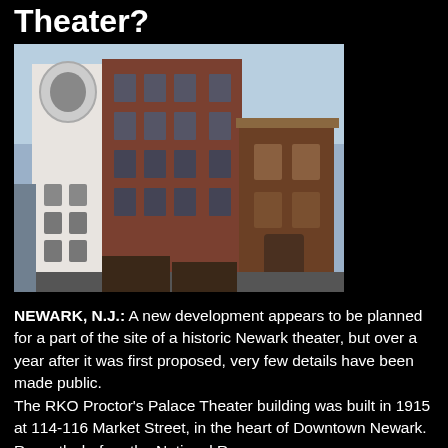Theater?
[Figure (photo): Exterior photo of the RKO Proctor's Palace Theater building, a multi-story brick structure with ornate white architectural details on the facade, taken from street level looking upward. The building shows signs of age and disrepair.]
NEWARK, N.J.: A new development appears to be planned for a part of the site of a historic Newark theater, but over a year after it was first proposed, very few details have been made public.
The RKO Proctor's Palace Theater building was built in 1915 at 114-116 Market Street, in the heart of Downtown Newark. Recently, before the National Re-